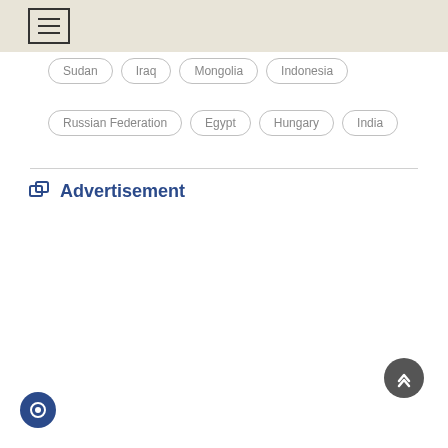Menu navigation header
Sudan
Iraq
Mongolia
Indonesia
Russian Federation
Egypt
Hungary
India
Advertisement